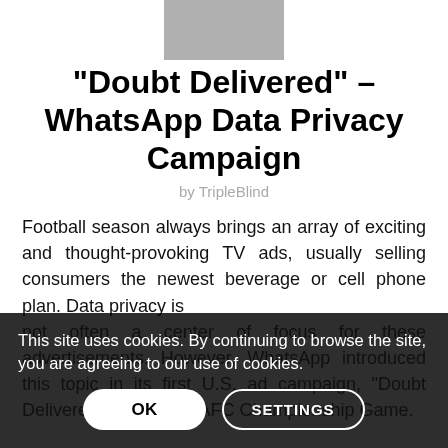[Figure (logo): Gray rectangle logo placeholder at top center]
“Doubt Delivered” – WhatsApp Data Privacy Campaign
by TripleBlind
Football season always brings an array of exciting and thought-provoking TV ads, usually selling consumers the newest beverage or cell phone plan. Data privacy is not often a center of focus for these advertisements. However, WhatsApp introduced this topic in its first U.S. ad campaign, “Doubt Delivered,” during the AFC Championship Game.
This site uses cookies. By continuing to browse the site, you are agreeing to our use of cookies.